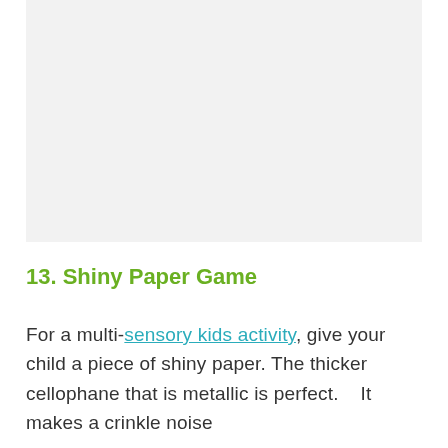[Figure (photo): Image placeholder area (photo content not visible)]
13. Shiny Paper Game
For a multi-sensory kids activity, give your child a piece of shiny paper. The thicker cellophane that is metallic is perfect.   It makes a crinkle noise